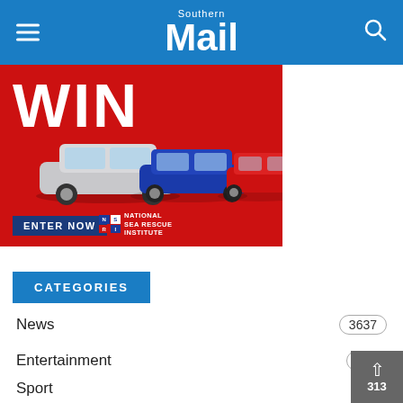Southern Mail
[Figure (photo): Advertisement banner on red background showing Mitsubishi SUV cars (silver, blue, red) with large white 'WIN' text, a dark blue 'ENTER NOW' button, and National Sea Rescue Institute logo and text.]
CATEGORIES
News 3637
Entertainment 718
Sport 313